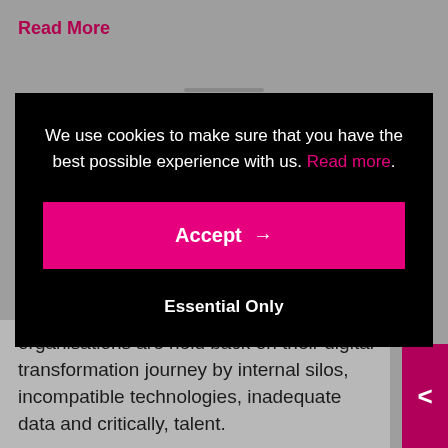Read More
[Figure (screenshot): Cookie consent modal overlay on a dark background. Contains text: 'We use cookies to make sure that you have the best possible experience with us. Read more.' with a pink 'Accept →' button and an 'Essential Only' option below.]
We use cookies to make sure that you have the best possible experience with us. Read more.
Accept →
Essential Only
organisations are held back on their digital transformation journey by internal silos, incompatible technologies, inadequate data and critically, talent.